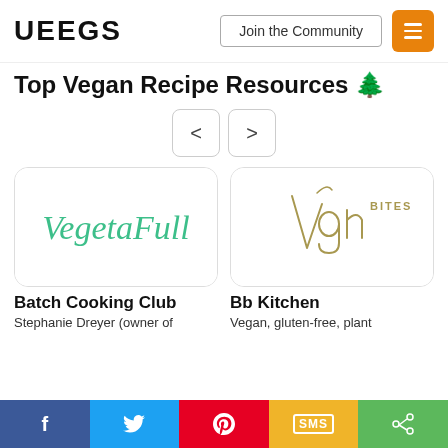VEEGS | Join the Community
Top Vegan Recipe Resources 🌱
[Figure (logo): VegetaFull cursive green logo in a rounded card]
Batch Cooking Club
Stephanie Dreyer (owner of
[Figure (logo): Vgn Bites olive/gold script logo in a rounded card]
Bb Kitchen
Vegan, gluten-free, plant
f | 🐦 | 𝑷 | SMS | <